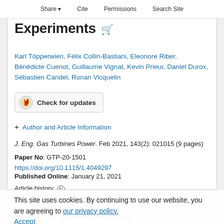Share   Cite   Permissions   Search Site
Experiments
Karl Töpperwien, Félix Collin-Bastiani, Eleonore Riber, Bénédicte Cuenot, Guillaume Vignat, Kevin Prieur, Daniel Durox, Sébastien Candel, Ronan Vicquelin
[Figure (other): Check for updates badge button]
+ Author and Article Information
J. Eng. Gas Turbines Power. Feb 2021, 143(2): 021015 (9 pages)
Paper No: GTP-20-1501
https://doi.org/10.1115/1.4049297
Published Online: January 21, 2021
Article history ⊙
Abstract
During the ignition of a swirled single-injector combustor, two phases have been identified
This site uses cookies. By continuing to use our website, you are agreeing to our privacy policy. Accept